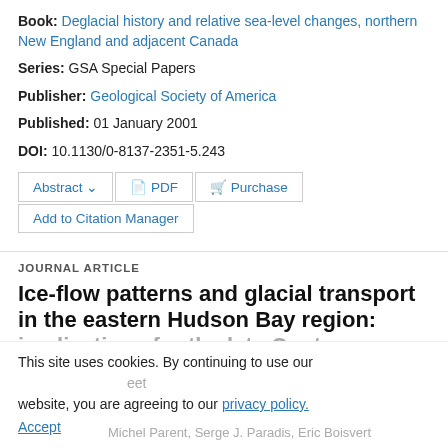Book: Deglacial history and relative sea-level changes, northern New England and adjacent Canada
Series: GSA Special Papers
Publisher: Geological Society of America
Published: 01 January 2001
DOI: 10.1130/0-8137-2351-5.243
Abstract  PDF  Purchase  Add to Citation Manager
JOURNAL ARTICLE
Ice-flow patterns and glacial transport in the eastern Hudson Bay region: implications for the late Quaternary dynamics of the Laurentide Ice Sheet
This site uses cookies. By continuing to use our website, you are agreeing to our privacy policy. Accept
Michel Parent, Serge J. Paradis, Eric Boisvert